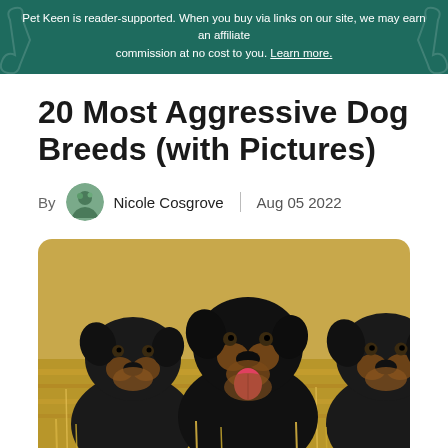Pet Keen is reader-supported. When you buy via links on our site, we may earn an affiliate commission at no cost to you. Learn more.
20 Most Aggressive Dog Breeds (with Pictures)
By Nicole Cosgrove | Aug 05 2022
[Figure (photo): Three Rottweiler dogs sitting together in a golden wheat field, facing the camera.]